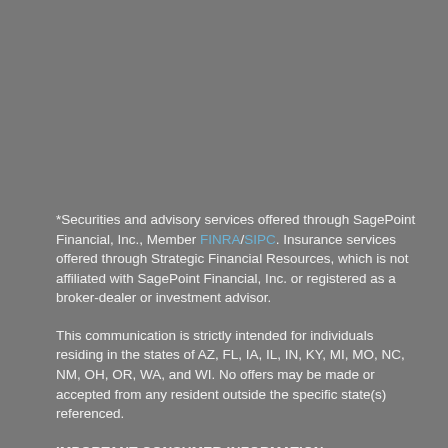*Securities and advisory services offered through SagePoint Financial, Inc., Member FINRA/SIPC. Insurance services offered through Strategic Financial Resources, which is not affiliated with SagePoint Financial, Inc. or registered as a broker-dealer or investment advisor.
This communication is strictly intended for individuals residing in the states of AZ, FL, IA, IL, IN, KY, MI, MO, NC, NM, OH, OR, WA, and WI. No offers may be made or accepted from any resident outside the specific state(s) referenced.
IMPORTANT CONSUMER INFORMATION
A Broker/dealer, investment adviser, BD agent, or IA rep may only transact business in a state if first registered, or is excluded or exempt from state broker/dealer, investment adviser, BD agent, or IA registration requirements as appropriate. Follow-up,